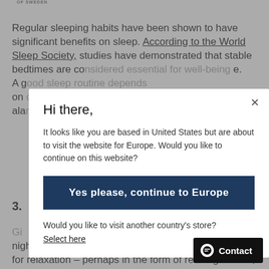OF SWEDEN
Regular sleeping habits have been shown to have significant benefits on sleep. According to the World Sleep Society, studies have demonstrated that stable bedtimes are co[...] e. A g[...] on[...] " ala[...]
3.
Gi[...] a night routine stripped of activities and dedicate time for relaxation – perhaps in the form of reading a book, listening to podcasts or music. Lying under a weighte[...] weighted blanket on the sofa is a great way to relax and
[Figure (screenshot): Modal dialog overlay with title 'Hi there,', body text about visiting Europe website, a dark blue button 'Yes please, continue to Europe', and a 'Select here' link for other countries.]
Hi there,
It looks like you are based in United States but are about to visit the website for Europe. Would you like to continue on this website?
Yes please, continue to Europe
Would you like to visit another country's store?
Select here